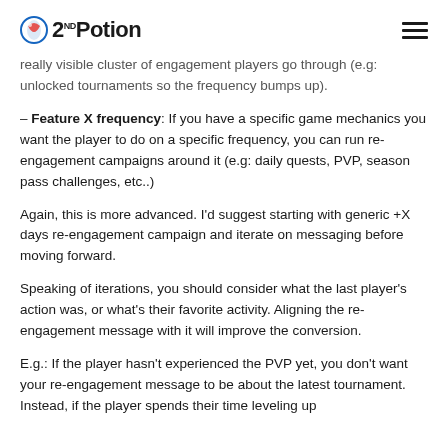2ND Potion
really visible cluster of engagement players go through (e.g: unlocked tournaments so the frequency bumps up).
Feature X frequency: If you have a specific game mechanics you want the player to do on a specific frequency, you can run re-engagement campaigns around it (e.g: daily quests, PVP, season pass challenges, etc..)
Again, this is more advanced. I'd suggest starting with generic +X days re-engagement campaign and iterate on messaging before moving forward.
Speaking of iterations, you should consider what the last player's action was, or what's their favorite activity. Aligning the re-engagement message with it will improve the conversion.
E.g.: If the player hasn't experienced the PVP yet, you don't want your re-engagement message to be about the latest tournament. Instead, if the player spends their time leveling up